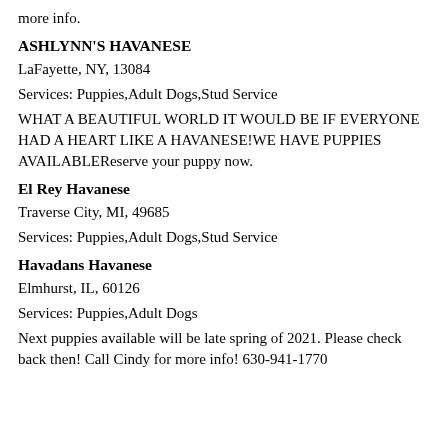more info.
ASHLYNN'S HAVANESE
LaFayette, NY, 13084
Services: Puppies,Adult Dogs,Stud Service
WHAT A BEAUTIFUL WORLD IT WOULD BE IF EVERYONE HAD A HEART LIKE A HAVANESE!WE HAVE PUPPIES AVAILABLEReserve your puppy now.
El Rey Havanese
Traverse City, MI, 49685
Services: Puppies,Adult Dogs,Stud Service
Havadans Havanese
Elmhurst, IL, 60126
Services: Puppies,Adult Dogs
Next puppies available will be late spring of 2021. Please check back then! Call Cindy for more info! 630-941-1770